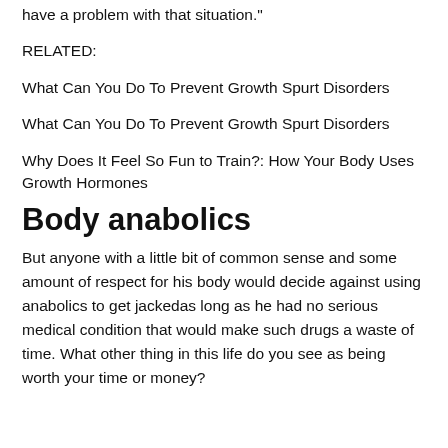have a problem with that situation."
RELATED:
What Can You Do To Prevent Growth Spurt Disorders
What Can You Do To Prevent Growth Spurt Disorders
Why Does It Feel So Fun to Train?: How Your Body Uses Growth Hormones
Body anabolics
But anyone with a little bit of common sense and some amount of respect for his body would decide against using anabolics to get jackedas long as he had no serious medical condition that would make such drugs a waste of time. What other thing in this life do you see as being worth your time or money?